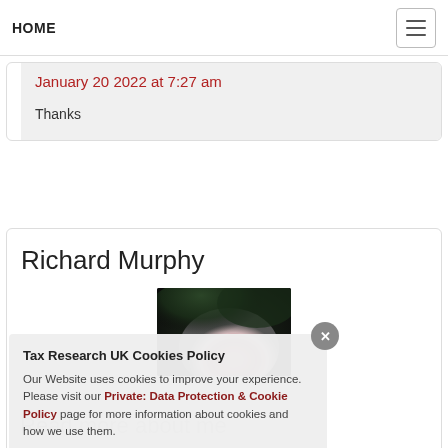HOME
January 20 2022 at 7:27 am
Thanks
Richard Murphy
[Figure (photo): A pink rose photographed against a dark foliage background]
Tax Research UK Cookies Policy
Our Website uses cookies to improve your experience. Please visit our Private: Data Protection & Cookie Policy page for more information about cookies and how we use them.